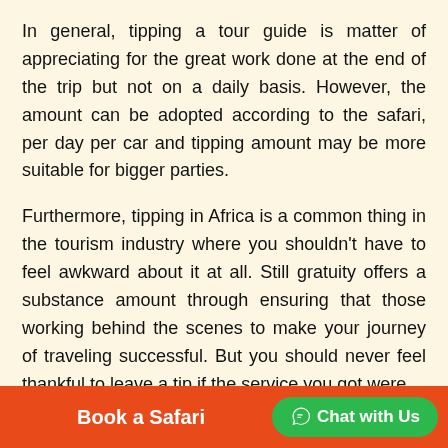In general, tipping a tour guide is matter of appreciating for the great work done at the end of the trip but not on a daily basis. However, the amount can be adopted according to the safari, per day per car and tipping amount may be more suitable for bigger parties.
Furthermore, tipping in Africa is a common thing in the tourism industry where you shouldn't have to feel awkward about it at all. Still gratuity offers a substance amount through ensuring that those working behind the scenes to make your journey of traveling successful. But you should never feel thankful to leave a tip if the service you got were
Book a Safari   Chat with Us